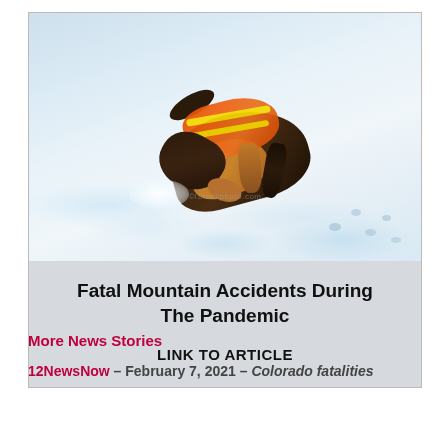[Figure (photo): A German Shepherd dog wearing an orange high-visibility safety vest with yellow reflective stripes, sniffing or searching in deep snow. The dog is leaning forward with its nose near the snow surface. Footprints are visible in the snow behind it. The image appears to be a search and rescue dog in a snowy mountain environment.]
Fatal Mountain Accidents During The Pandemic
LINK TO ARTICLE
More News Stories
12NewsNow – February 7, 2021 – Colorado fatalities